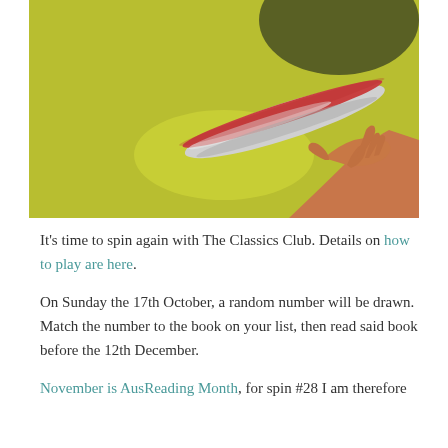[Figure (photo): A hand balancing a spinning disc (frisbee-like object) on fingertips against a yellow-green background with a dark shadow at top.]
It's time to spin again with The Classics Club. Details on how to play are here.
On Sunday the 17th October, a random number will be drawn. Match the number to the book on your list, then read said book before the 12th December.
November is AusReading Month, for spin #28 I am therefore